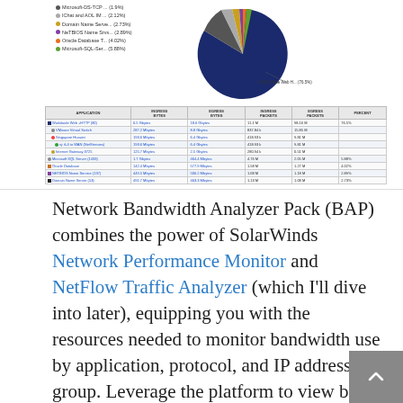[Figure (screenshot): SolarWinds Network Bandwidth Analyzer screenshot showing a pie chart of network traffic by application (World Wide Web H... at 76.5% dominates) and a data table below listing applications with ingress/egress bytes, packets, and percent columns.]
Network Bandwidth Analyzer Pack (BAP) combines the power of SolarWinds Network Performance Monitor and NetFlow Traffic Analyzer (which I'll dive into later), equipping you with the resources needed to monitor bandwidth use by application, protocol, and IP address group. Leverage the platform to view both IPv4 and IPv6 flow records and monitor